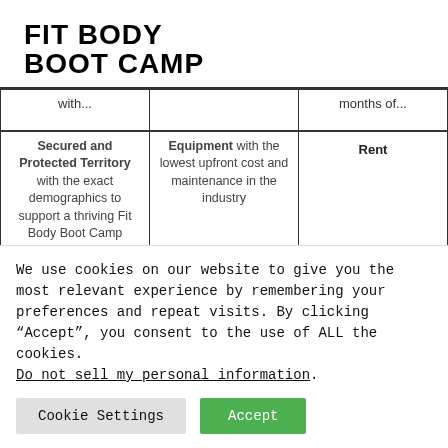[Figure (logo): Fit Body Boot Camp logo in bold black uppercase text]
| with... |  | months of... |
| --- | --- | --- |
| Secured and Protected Territory with the exact demographics to support a thriving Fit Body Boot Camp | Equipment with the lowest upfront cost and maintenance in the industry | Rent |
| 5 Day FBBC | Real Estate | Payroll |
We use cookies on our website to give you the most relevant experience by remembering your preferences and repeat visits. By clicking “Accept”, you consent to the use of ALL the cookies. Do not sell my personal information.
Cookie Settings  Accept